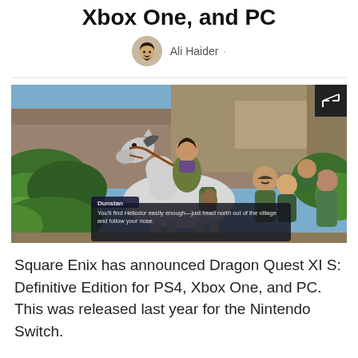Xbox One, and PC
Ali Haider ·
[Figure (screenshot): Dragon Quest XI S game screenshot showing a character riding a white horse through a village. Other NPCs stand around watching. A dialogue box at the bottom reads: Dunstan — You'll find Heliodor easily enough—just head north out of the village and follow your nose.]
Square Enix has announced Dragon Quest XI S: Definitive Edition for PS4, Xbox One, and PC. This was released last year for the Nintendo Switch.